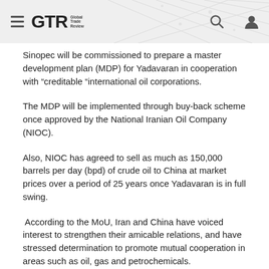GTR Global Trade Review
Sinopec will be commissioned to prepare a master development plan (MDP) for Yadavaran in cooperation with “creditable “international oil corporations.
The MDP will be implemented through buy-back scheme once approved by the National Iranian Oil Company (NIOC).
Also, NIOC has agreed to sell as much as 150,000 barrels per day (bpd) of crude oil to China at market prices over a period of 25 years once Yadavaran is in full swing.
According to the MoU, Iran and China have voiced interest to strengthen their amicable relations, and have stressed determination to promote mutual cooperation in areas such as oil, gas and petrochemicals.